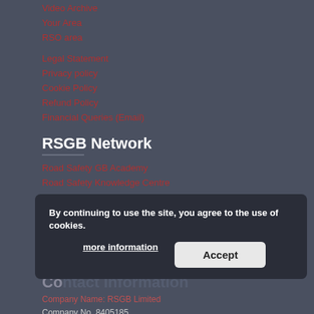Video Archive
Your Area
RSO area
Legal Statement
Privacy policy
Cookie Policy
Refund Policy
Financial Queries (Email)
RSGB Network
Road Safety GB Academy
Road Safety Knowledge Centre
RSGB International
National Road Safety Conference
Young Driver Focus Conference
Joining the Dots Conference
Older Road User Conference
Contact Information
Company Name: RSGB Limited
Company No. 8405185
The company is limited by guarantee
By continuing to use the site, you agree to the use of cookies. more information Accept